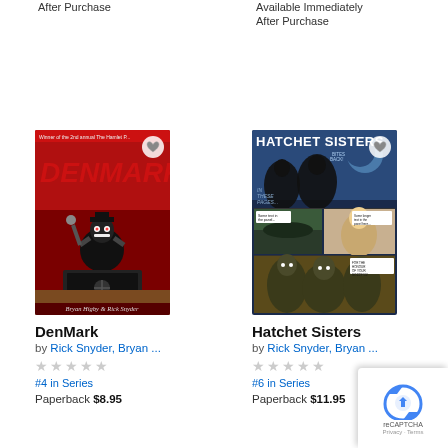After Purchase
Available Immediately After Purchase
[Figure (photo): Book cover for DenMark - dark horror/thriller cover with a menacing figure at a laptop, red background, text 'DENMARK' in red, authors Bryan Higby & Rick Snyder]
DenMark
by Rick Snyder, Bryan ...
★★★★★
#4 in Series
Paperback $8.95
[Figure (photo): Comic book cover for Hatchet Sisters - blue toned comic panels showing action scenes with superhero-like figures]
Hatchet Sisters
by Rick Snyder, Bryan ...
★★★★★
#6 in Series
Paperback $11.95